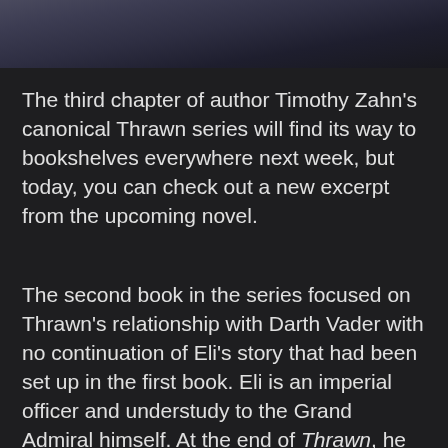[Figure (photo): Top portion of a dark sci-fi book cover image, showing armored figures against a dark starry background]
The third chapter of author Timothy Zahn's canonical Thrawn series will find its way to bookshelves everywhere next week, but today, you can check out a new excerpt from the upcoming novel.
The second book in the series focused on Thrawn's relationship with Darth Vader with no continuation of Eli's story that had been set up in the first book. Eli is an imperial officer and understudy to the Grand Admiral himself. At the end of Thrawn, he was sent to the Unknown